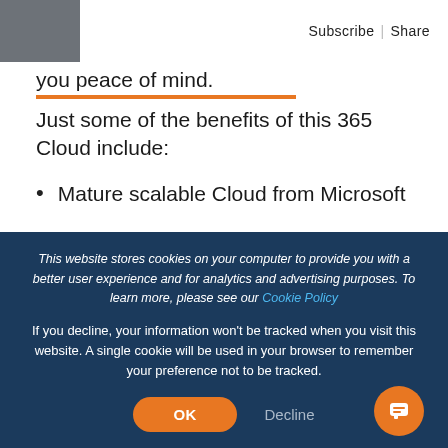Subscribe | Share
you peace of mind.
Just some of the benefits of this 365 Cloud include:
Mature scalable Cloud from Microsoft
Overall cost reduction compared to on-premise
Service approach, all updates completed by
This website stores cookies on your computer to provide you with a better user experience and for analytics and advertising purposes. To learn more, please see our Cookie Policy
If you decline, your information won't be tracked when you visit this website. A single cookie will be used in your browser to remember your preference not to be tracked.
OK
Decline